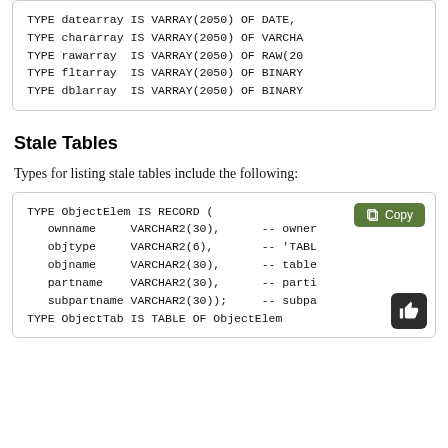TYPE datearray IS VARRAY(2050) OF DATE,
TYPE chararray IS VARRAY(2050) OF VARCHAR
TYPE rawarray  IS VARRAY(2050) OF RAW(20
TYPE fltarray  IS VARRAY(2050) OF BINARY
TYPE dblarray  IS VARRAY(2050) OF BINARY
Stale Tables
Types for listing stale tables include the following:
TYPE ObjectElem IS RECORD (
    ownname      VARCHAR2(30),      -- owner
    objtype      VARCHAR2(6),       -- 'TABL
    objname      VARCHAR2(30),      -- table
    partname     VARCHAR2(30),      -- parti
    subpartname  VARCHAR2(30));     -- subpa
TYPE ObjectTab IS TABLE OF ObjectElem